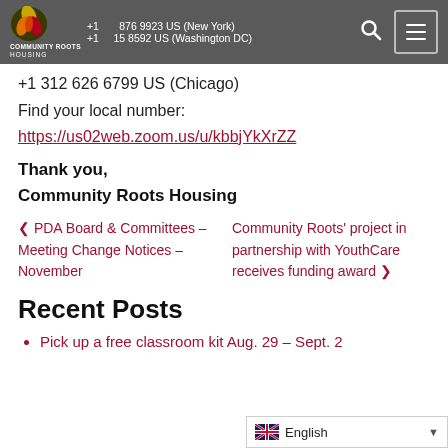Community Roots Housing — navigation bar with logo, phone numbers, search and menu icons
+1 312 626 6799 US (Chicago)
Find your local number:
https://us02web.zoom.us/u/kbbjYkXrZZ
Thank you,
Community Roots Housing
❮ PDA Board & Committees – Meeting Change Notices – November
Community Roots' project in partnership with YouthCare receives funding award ❯
Recent Posts
Pick up a free classroom kit Aug. 29 – Sept. 2